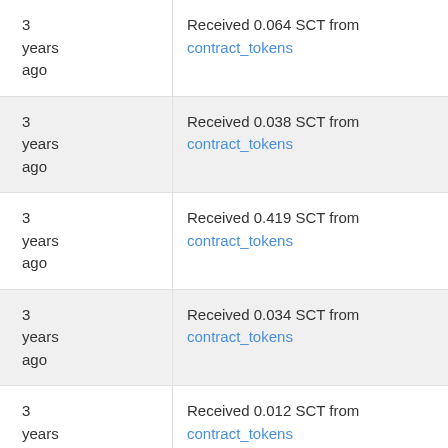| Time | Description |
| --- | --- |
| 3 years ago | Received 0.064 SCT from contract_tokens |
| 3 years ago | Received 0.038 SCT from contract_tokens |
| 3 years ago | Received 0.419 SCT from contract_tokens |
| 3 years ago | Received 0.034 SCT from contract_tokens |
| 3 years ago | Received 0.012 SCT from contract_tokens |
| 3 |  |